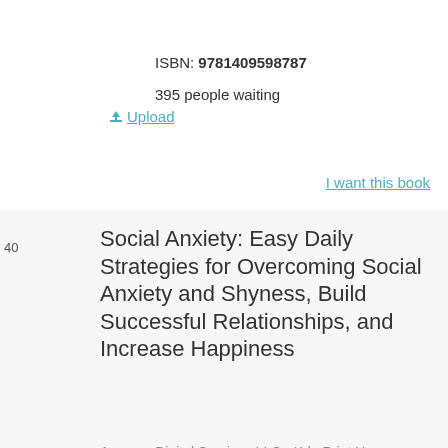⬆ Upload
ISBN: 9781409598787
395 people waiting
I want this book
40
Social Anxiety: Easy Daily Strategies for Overcoming Social Anxiety and Shyness, Build Successful Relationships, and Increase Happiness
Amazon Digital Services LLC - Kdp Print Us
James Williams